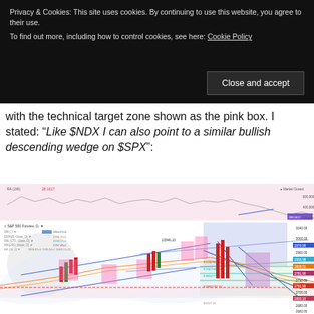Privacy & Cookies: This site uses cookies. By continuing to use this website, you agree to their use. To find out more, including how to control cookies, see here: Cookie Policy
Close and accept
with the technical target zone shown as the pink box. I stated: “Like $NDX I can also point to a similar bullish descending wedge on $SPX”:
[Figure (screenshot): S&P 500 Futures daily chart showing candlestick price action with descending wedge pattern, Bollinger Bands, moving averages (MA 50, EMA 8, MA 170, MA 200), Fibonacci retracement levels, and a blue shaded target zone. Chart labels include 1/2946.10, Fibonacci levels 0.618, 0.50, 0.382, 0.236, 0/2627.51. Price labels on right: ~2960, 2900, 2880, 2880, 2860, 2730, 2720, 2700, 2800, 2780.]